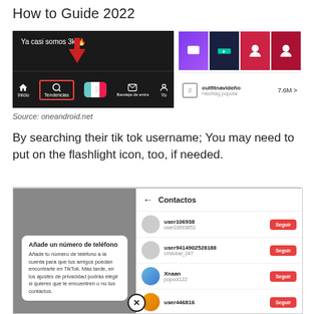How to Guide 2022
[Figure (screenshot): Two-part TikTok app screenshot: left side shows dark TikTok interface with 'Ya casi somos 3k!' text and red arrow pointing to Tendencias tab in nav bar; right side shows thumbnails and a hashtag outfitnavideño with 7.6M views.]
Source: oneandroid.net
By searching their tik tok username; You may need to put on the flashlight icon, too, if needed.
[Figure (screenshot): Two-part screenshot: left shows gray TikTok phone screen with 'Añade un número de teléfono' dialog card and X dismiss button; right shows Contactos panel with users user106938, user9414902528188 (cristobal_247), Xnaan (popout122), and user446816, each with red Seguir buttons.]